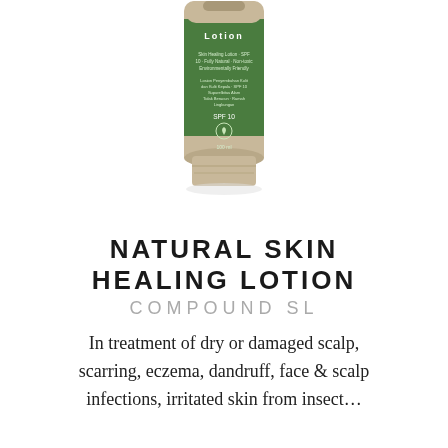[Figure (photo): A green and beige tube of Natural Skin Healing Lotion product, SPF 10, 100ml, photographed from behind showing the label text and logo, standing upright on a white background.]
NATURAL SKIN HEALING LOTION
COMPOUND SL
In treatment of dry or damaged scalp, scarring, eczema, dandruff, face & scalp infections, irritated skin from insect…